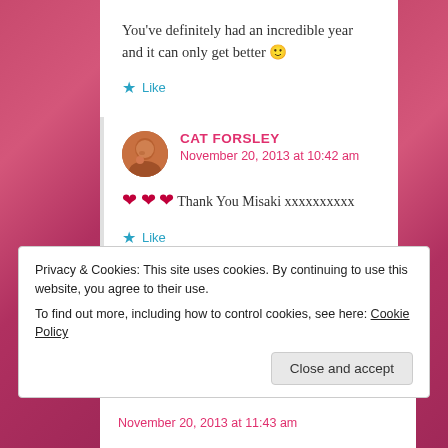You've definitely had an incredible year and it can only get better 🙂
Like
CAT FORSLEY
November 20, 2013 at 10:42 am
❤ ❤ ❤ Thank You Misaki xxxxxxxxxx
Like
Privacy & Cookies: This site uses cookies. By continuing to use this website, you agree to their use. To find out more, including how to control cookies, see here: Cookie Policy
Close and accept
November 20, 2013 at 11:43 am